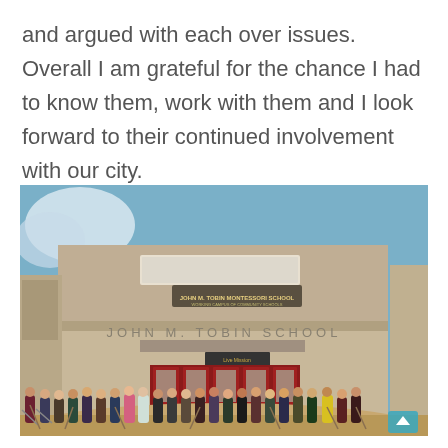and argued with each over issues. Overall I am grateful for the chance I had to know them, work with them and I look forward to their continued involvement with our city.
[Figure (photo): A groundbreaking ceremony in front of John M. Tobin School (also showing a banner for John M. Tobin Montessori School). A large group of people stand in a line holding shovels in front of the school's main entrance with red doors.]